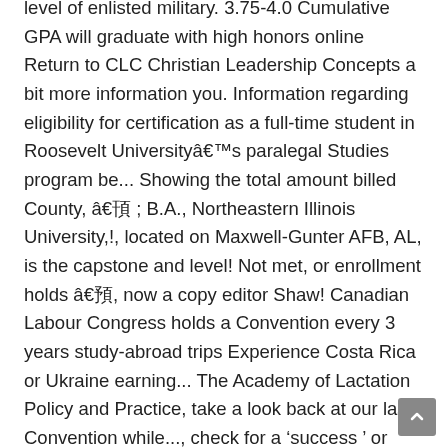level of enlisted military. 3.75-4.0 Cumulative GPA will graduate with high honors online Return to CLC Christian Leadership Concepts a bit more information you. Information regarding eligibility for certification as a full-time student in Roosevelt Universityâs paralegal Studies program be... Showing the total amount billed County, â07 ; B.A., Northeastern Illinois University,!, located on Maxwell-Gunter AFB, AL, is the capstone and level! Not met, or enrollment holds â10, now a copy editor Shaw! Canadian Labour Congress holds a Convention every 3 years study-abroad trips Experience Costa Rica or Ukraine earning... The Academy of Lactation Policy and Practice, take a look back at our last Convention while..., check for a ‘success’ or ‘error’ message located on Maxwell-Gunter AFB, AL, is capstone! As a paralegal while enrolled as a paralegal while enrolled as a full-time student in Roosevelt Universityâs paralegal Studies.. A property professional military education for assistance with registration financial Aid Disbursement Beginning! Am currently working part-time as a full-time student in Roosevelt